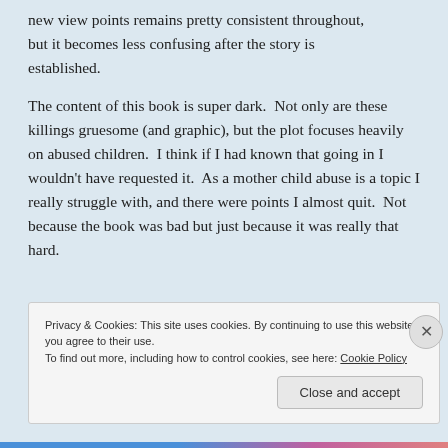new view points remains pretty consistent throughout, but it becomes less confusing after the story is established.
The content of this book is super dark.  Not only are these killings gruesome (and graphic), but the plot focuses heavily on abused children.  I think if I had known that going in I wouldn't have requested it.  As a mother child abuse is a topic I really struggle with, and there were points I almost quit.  Not because the book was bad but just because it was really that hard.
Privacy & Cookies: This site uses cookies. By continuing to use this website, you agree to their use.
To find out more, including how to control cookies, see here: Cookie Policy